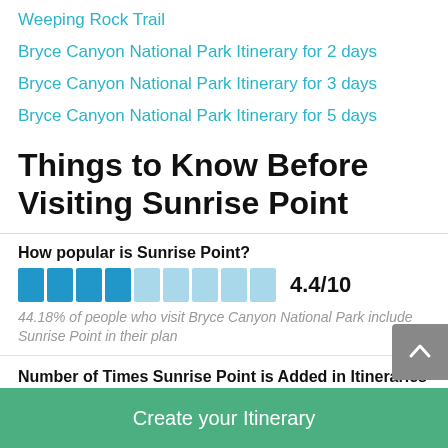Weeping Rock Trail
Bryce Canyon National Park Itinerary for 2 days
Bryce Canyon National Park Itinerary for 3 days
Bryce Canyon National Park Itinerary for 5 days
Things to Know Before Visiting Sunrise Point
How popular is Sunrise Point?
4.4/10
44.18% of people who visit Bryce Canyon National Park include Sunrise Point in their plan
Number of Times Sunrise Point is Added in Itineraries
611 Times
Create your Itinerary